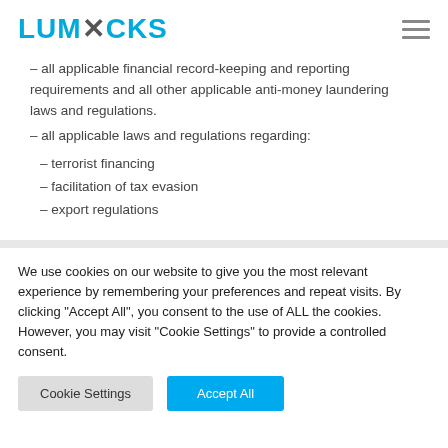LUMXCKS
– all applicable financial record-keeping and reporting requirements and all other applicable anti-money laundering laws and regulations.
– all applicable laws and regulations regarding:
– terrorist financing
– facilitation of tax evasion
– export regulations
We use cookies on our website to give you the most relevant experience by remembering your preferences and repeat visits. By clicking "Accept All", you consent to the use of ALL the cookies. However, you may visit "Cookie Settings" to provide a controlled consent.